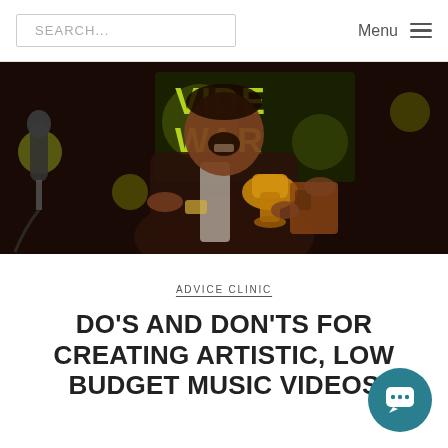SEARCH... | Menu
[Figure (photo): Person laughing and holding a golden award trophy at what appears to be a music video awards ceremony. Green neon signage reading 'VIDEO' and 'WAR...' visible in background.]
ADVICE CLINIC
DO'S AND DON'TS FOR CREATING ARTISTIC, LOW BUDGET MUSIC VIDEOS